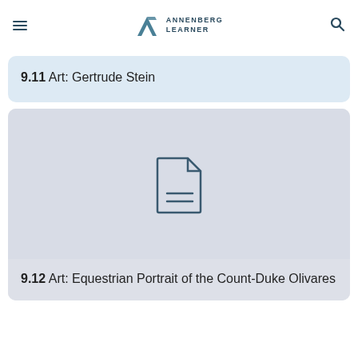Annenberg Learner
9.11 Art: Gertrude Stein
[Figure (illustration): Document/file placeholder icon — outline of a page with folded corner and two horizontal lines inside]
9.12 Art: Equestrian Portrait of the Count-Duke Olivares